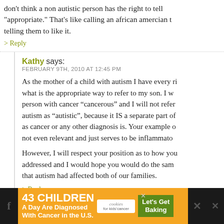don't think a non autistic person has the right to tell "appropriate." That's like calling an african amercian t telling them to like it.
> Reply
Kathy says:
FEBRUARY 9TH, 2010 AT 12:45 PM
As the mother of a child with autism I have every ri what is the appropriate way to refer to my son. I w person with cancer "cancerous" and I will not refer autism as "autistic", because it IS a separate part of as cancer or any other diagnosis is. Your example o not even relevant and just serves to be inflammato
However, I will respect your position as to how you addressed and I would hope you would do the sam that autism had affected both of our families.
> Reply
[Figure (screenshot): Advertisement banner: '43 CHILDREN A Day Are Diagnosed With Cancer in the U.S.' with cookies for kids cancer logo and 'Let's Get Baking' button]